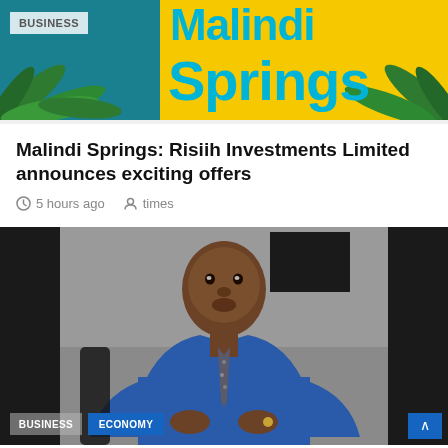[Figure (screenshot): Malindi Springs promotional banner with yellow and teal background, 'Springs' text in large blue letters, palm leaf graphics]
BUSINESS
Malindi Springs: Risiih Investments Limited announces exciting offers
5 hours ago   times
[Figure (photo): Photo of a man in a blue shirt and patterned tie, seated, gesturing with hands, against a grey background]
BUSINESS   ECONOMY
Agilitee Is Now A Public Company Ahead of Africa's Largest IPO